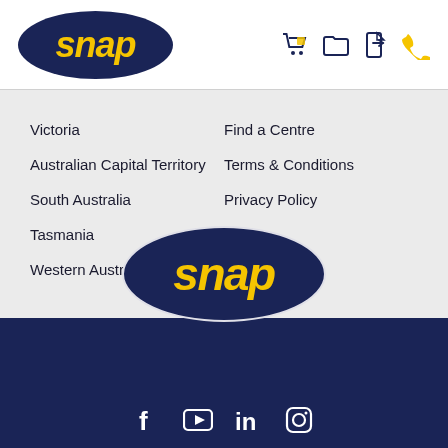[Figure (logo): Snap logo — dark navy oval with italic yellow 'snap' text]
[Figure (infographic): Header icons: shopping cart, folder, share/file, phone — dark navy and yellow]
Victoria
Australian Capital Territory
South Australia
Tasmania
Western Australia
Find a Centre
Terms & Conditions
Privacy Policy
[Figure (logo): Snap footer logo — large dark navy oval with italic yellow 'snap' text, white border]
[Figure (infographic): Social media icons: Facebook, YouTube, LinkedIn, Instagram — white on dark navy background]